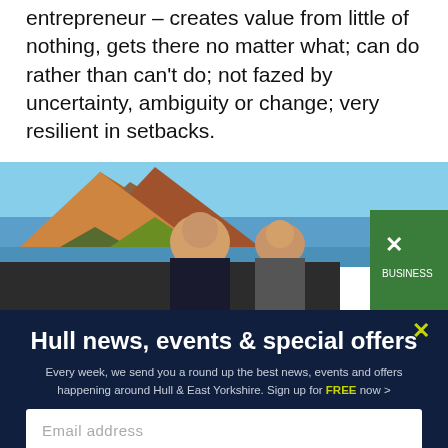entrepreneur – creates value from little of nothing, gets there no matter what; can do rather than can't do; not fazed by uncertainty, ambiguity or change; very resilient in setbacks.
[Figure (photo): Photo of people standing in front of a large screen displaying a scenic rocky island with blue sea and sky. A green branded display is visible on the right side.]
Hull news, events & special offers
Every week, we send you a round up the best news, events and offers happening around Hull & East Yorkshire. Sign up for FREE now >